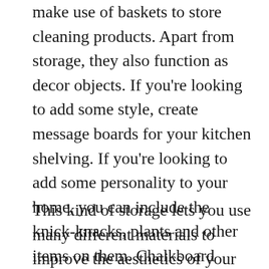make use of baskets to store cleaning products. Apart from storage, they also function as decor objects. If you're looking to add some style, create message boards for your kitchen shelving. If you're looking to add some personality to your home, you can include the knick-knacks, plants and other items on them. Chalkboard shelves are also useful for writing messages to your family members.
This kind of storage lets you use many different materials to improve the aesthetics of your kitchen. Open shelves are also great for displaying old-fashioned and common objects. A variety of them can be done